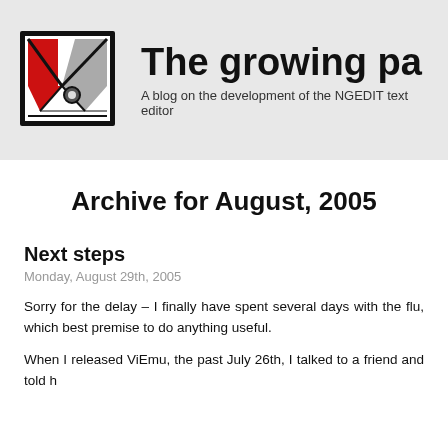[Figure (logo): ViEmu/NGEDIT logo: stylized letter V with red and gray triangular design in a black bordered square]
The growing pa
A blog on the development of the NGEDIT text editor
Archive for August, 2005
Next steps
Monday, August 29th, 2005
Sorry for the delay – I finally have spent several days with the flu, which best premise to do anything useful.
When I released ViEmu, the past July 26th, I talked to a friend and told h